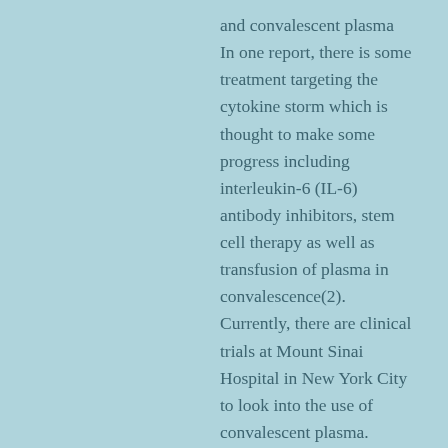and convalescent plasma In one report, there is some treatment targeting the cytokine storm which is thought to make some progress including interleukin-6 (IL-6) antibody inhibitors, stem cell therapy as well as transfusion of plasma in convalescence(2). Currently, there are clinical trials at Mount Sinai Hospital in New York City to look into the use of convalescent plasma. There are ongoing trials for interleukin-6 inhibitors by drug companies Sanofi and Regeneron.
Chloroquine